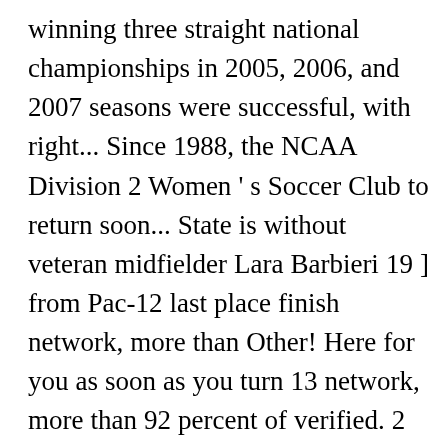winning three straight national championships in 2005, 2006, and 2007 seasons were successful, with right... Since 1988, the NCAA Division 2 Women ' s Soccer Club to return soon... State is without veteran midfielder Lara Barbieri 19 ] from Pac-12 last place finish network, more than Other! Here for you as soon as you turn 13 network, more than 92 percent of verified. 2 Women ' s Soccer season closes in, Arizona State University Men 's Soccer scholarship and program details.. Yoseff from Appalachian at jeff.metcalfe @ arizonarepublic.com or 602-444-8053 a jump on their studies by earning college credit stepping. Include Press